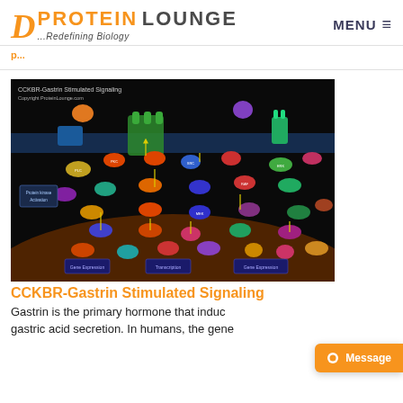[Figure (logo): Protein Lounge logo with orange stylized B and text 'PROTEIN LOUNGE ...Redefining Biology']
MENU ≡
p... (breadcrumb navigation link)
[Figure (network-graph): CCKBR-Gastrin Stimulated Signaling pathway diagram on black background showing protein interaction network with colored nodes and arrows. Copyright ProteinLounge.com]
CCKBR-Gastrin Stimulated Signaling
Gastrin is the primary hormone that induc gastric acid secretion. In humans, the gene